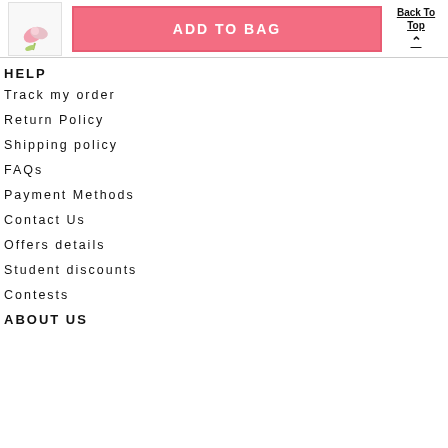[Figure (logo): Small product/brand logo image in top left corner]
ADD TO BAG
Back To Top ▲
HELP
Track my order
Return Policy
Shipping policy
FAQs
Payment Methods
Contact Us
Offers details
Student discounts
Contests
ABOUT US